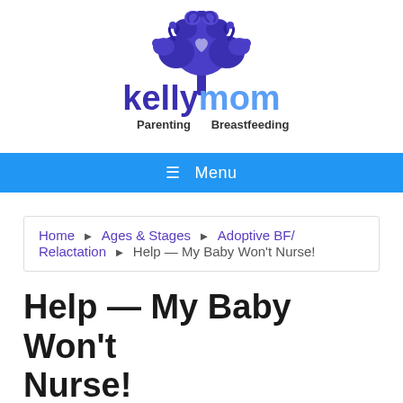[Figure (logo): KellyMom logo — decorative tree with swirls in purple/dark blue above the text 'kellymom' in bold purple, with 'Parenting' and 'Breastfeeding' in dark sans-serif below]
≡ Menu
Home ▶ Ages & Stages ▶ Adoptive BF/Relactation ▶ Help — My Baby Won't Nurse!
Help — My Baby Won't Nurse!